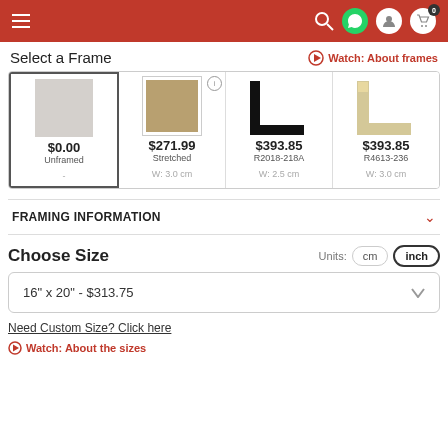Navigation header with menu, search, whatsapp, account, and cart icons
Select a Frame
Watch: About frames
| Unframed | Stretched | R2018-218A | R4613-236 |
| --- | --- | --- | --- |
| $0.00 | $271.99 | $393.85 | $393.85 |
| Unframed | Stretched | R2018-218A | R4613-236 |
| - | W: 3.0 cm | W: 2.5 cm | W: 3.0 cm |
FRAMING INFORMATION
Choose Size
Units: cm  inch
16" x 20" - $313.75
Need Custom Size? Click here
Watch: About the sizes